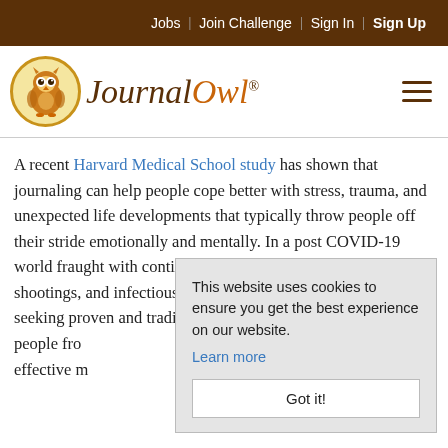Jobs | Join Challenge | Sign In | Sign Up
[Figure (logo): Journal Owl logo with owl icon in circular badge and stylized text 'Journal Owl' with registered trademark symbol]
A recent Harvard Medical School study has shown that journaling can help people cope better with stress, trauma, and unexpected life developments that typically throw people off their stride emotionally and mentally. In a post COVID-19 world fraught with continuous threats of terrorism, school shootings, and infectious disease outbreaks – people are seeking proven and traditional worry. Journaling people fro effective m
This website uses cookies to ensure you get the best experience on our website. Learn more Got it!